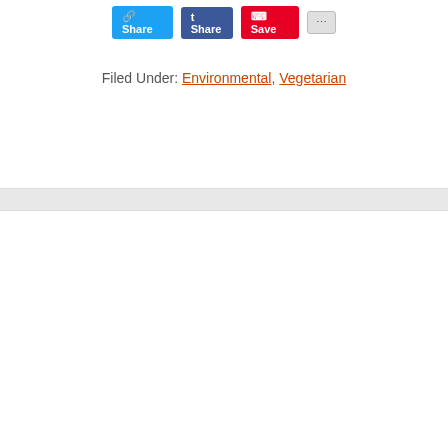Filed Under: Environmental, Vegetarian
Comments
eliza jane says
January 28, 2007 at 4:28 pm
I've ordered the book from my library. One of the reasons I love reading blogs is that none of my real life friends read enough to satiate my thirst for discussing books, and my voracious literary appetite. do you do anything to support ethical